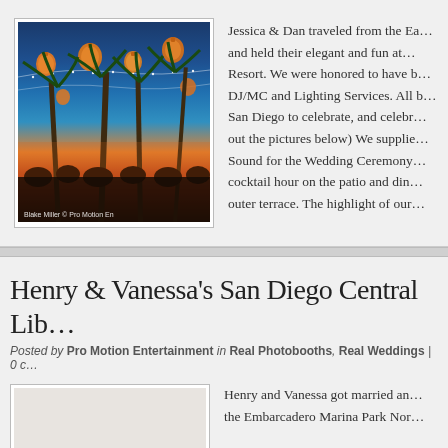[Figure (photo): Evening outdoor event photo showing palm trees, string lights, and orange lanterns hanging against a blue and orange sunset sky. Photo credit: Blake Miller © Pro Motion En[tertainment]]
Jessica & Dan traveled from the Ea... and held their elegant and fun at... Resort. We were honored to have b... DJ/MC and Lighting Services. All b... San Diego to celebrate, and celebr... out the pictures below) We supplie... Sound for the Wedding Ceremony... cocktail hour on the patio and din... outer terrace. The highlight of our...
Henry & Vanessa's San Diego Central Lib...
Posted by Pro Motion Entertainment in Real Photobooths, Real Weddings | 0 ...
[Figure (photo): Partially visible photo, appears to be a wedding or event venue photo]
Henry and Vanessa got married an... the Embarcadero Marina Park Nor...